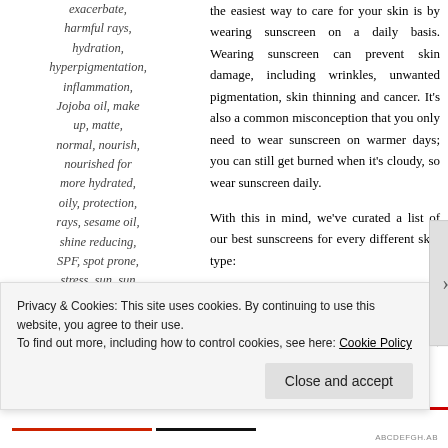exacerbate, harmful rays, hydration, hyperpigmentation, inflammation, Jojoba oil, make up, matte, normal, nourish, nourished for more hydrated, oily, protection, rays, sesame oil, shine reducing, SPF, spot prone, stress, sun, sun damage, sun
the easiest way to care for your skin is by wearing sunscreen on a daily basis. Wearing sunscreen can prevent skin damage, including wrinkles, unwanted pigmentation, skin thinning and cancer. It's also a common misconception that you only need to wear sunscreen on warmer days; you can still get burned when it's cloudy, so wear sunscreen daily.
With this in mind, we've curated a list of our best sunscreens for every different skin type:
Normal
When you have normal skin, you often have the pick of many different products, but finding a daily SPF
Privacy & Cookies: This site uses cookies. By continuing to use this website, you agree to their use.
To find out more, including how to control cookies, see here: Cookie Policy
Close and accept